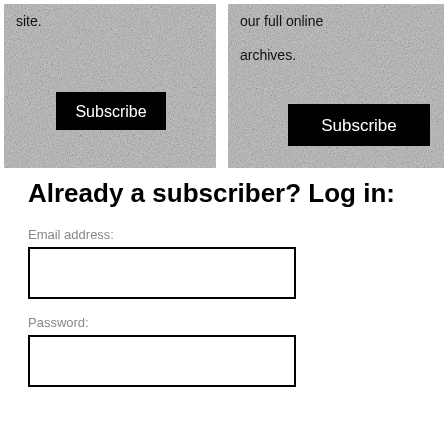[Figure (other): Two subscription cards side by side, each with a noisy gray background. Left card shows 'site.' text and a black Subscribe button. Right card shows 'our full online archives.' text and a black Subscribe button.]
Already a subscriber? Log in:
Email address:
Password: